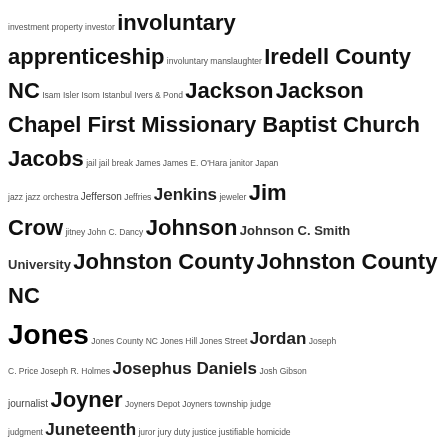[Figure (other): Tag cloud / word cloud showing index terms starting with I, J, K, L. Terms appear in varying font sizes indicating frequency/importance. Includes terms like involuntary apprenticeship, Iredell County NC, Jackson, Jim Crow, Johnson, Johnston County, Jones, Joyner, Juneteenth, juvenile crime, Ku Klux Klan, Knight, kindergarten, Kennedy, Kittrell, etc.]